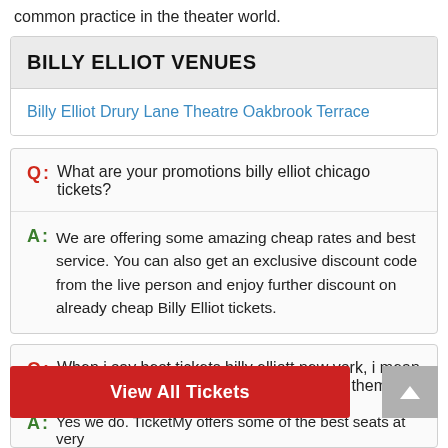common practice in the theater world.
BILLY ELLIOT VENUES
Billy Elliot Drury Lane Theatre Oakbrook Terrace
Q: What are your promotions billy elliot chicago tickets?
A: We are offering some amazing cheap rates and best service. You can also get an exclusive discount code from the live person and enjoy further discount on already cheap Billy Elliot tickets.
Q: When i say best tickets billy elliott new york, i mean best seats at best prices, so do you have them for
View All Tickets
A: Yes we do. TicketMy offers some of the best seats at very